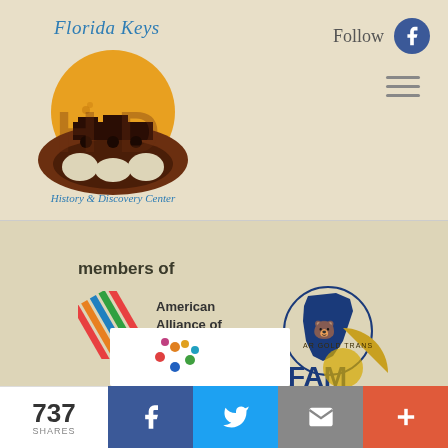[Figure (logo): Florida Keys History & Discovery Center logo with train silhouette and sun]
Follow
[Figure (logo): Facebook circle icon (blue)]
[Figure (other): Hamburger menu icon (three horizontal lines)]
members of
[Figure (logo): American Alliance of Museums logo with colorful diagonal lines]
American Alliance of Museums
[Figure (logo): FAM (Florida Association of Museums) logo with Florida state shape in blue]
[Figure (logo): Partial white card with dots logo at bottom]
[Figure (logo): Partial gold circular badge/seal at bottom right]
737
SHARES
[Figure (logo): Facebook share button (blue)]
[Figure (logo): Twitter share button (light blue)]
[Figure (logo): Email share button (gray)]
[Figure (logo): More/plus share button (red-orange)]